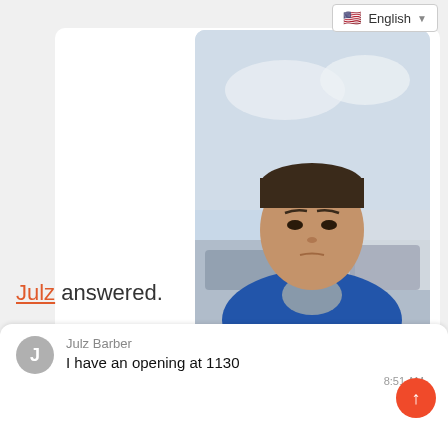[Figure (screenshot): Screenshot of a messaging app showing a selfie photo of a man outdoors with a green chat bubble saying 'Need a hair cut. Benjamin Thiel' at 8:43 AM]
Julz answered.
Julz Barber
I have an opening at 1130
8:51 AM